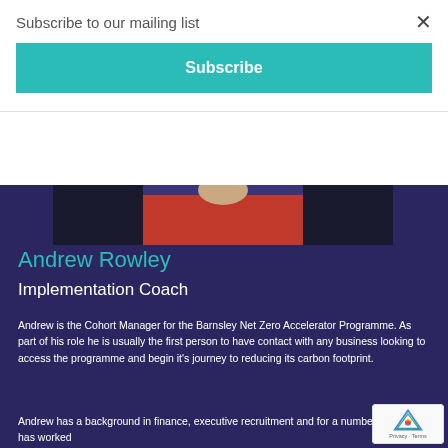Subscribe to our mailing list
×
Subscribe
[Figure (photo): Partial photo of Andrew Rowley showing upper body with red shirt and dark jacket]
Andrew Rowley
Implementation Coach
Andrew is the Cohort Manager for the Barnsley Net Zero Accelerator Programme. As part of his role he is usually the first person to have contact with any business looking to access the programme and begin it's journey to reducing its carbon footprint.
Andrew has a background in finance, executive recruitment and for a number of years has worked